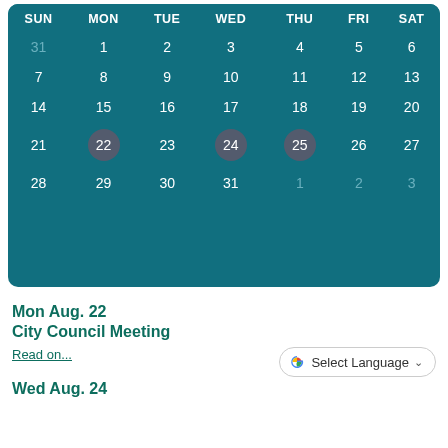[Figure (other): Monthly calendar grid with dark teal background showing days SUN through SAT. Dates 22 (Mon), 24 (Wed), and 25 (Thu) are highlighted with circular markers. Days 31 (prior month), and 1, 2, 3 (next month) are dimmed.]
Mon Aug. 22
City Council Meeting
Read on...
[Figure (other): Google Translate 'Select Language' button with Google G logo and dropdown chevron]
Wed Aug. 24